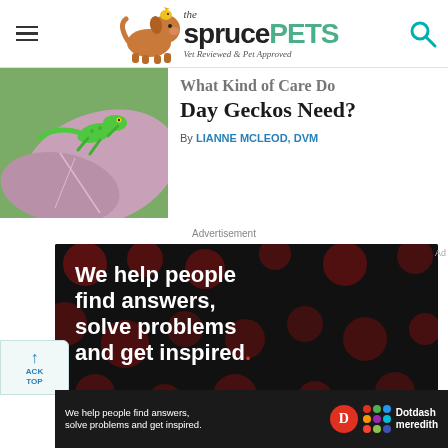the spruce PETS — Vet Reviewed & Pet Approved
[Figure (photo): Green day gecko on a tropical plant with pink and green leaves]
What Kind of Care Do Day Geckos Need?
By LIANNE MCLEOD, DVM
Advertisement
[Figure (infographic): Advertisement banner: We help people find answers, solve problems and get inspired. — Dotdash Meredith]